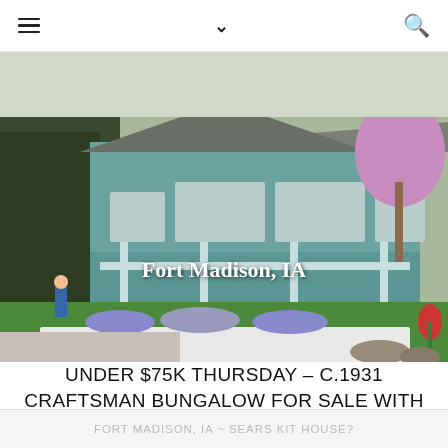≡   ∨   🔍
[Figure (photo): Exterior photograph of a craftsman bungalow house with a green porch, white retaining wall, purple flowering plants, green lawn, and blooming trees. Text overlay reads 'Fort Madison, IA'.]
UNDER $75K THURSDAY – C.1931 CRAFTSMAN BUNGALOW FOR SALE WITH RIVER VIEW IN
FORT MADISON, IA ~ SEARS KIT HOUSE?